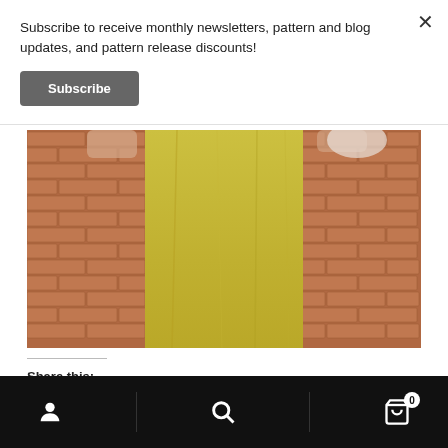Subscribe to receive monthly newsletters, pattern and blog updates, and pattern release discounts!
Subscribe
[Figure (photo): Person wearing yellow/mustard wide-leg pants standing against a red brick wall, holding the sides of the fabric out.]
Share this:
Facebook
Pinterest
Twitter
Email
Print
More